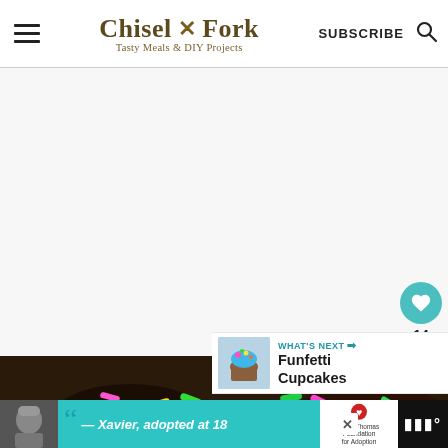Chisel & Fork – Tasty Meals & DIY Projects | SUBSCRIBE
[Figure (photo): Large white/blank main content image area]
[Figure (illustration): Heart (favorite) button, teal circle with heart icon, count 14, and share button below]
[Figure (screenshot): What's Next panel with cupcake thumbnail and text: Funfetti Cupcakes]
[Figure (photo): Close-up photo of chocolate donuts with colorful sprinkles (pink, yellow, green)]
[Figure (screenshot): Advertisement banner: person in beanie, quote 'Xavier, adopted at 18', Dave Thomas Foundation for Adoption logo, close button, dark right section with audio icon]